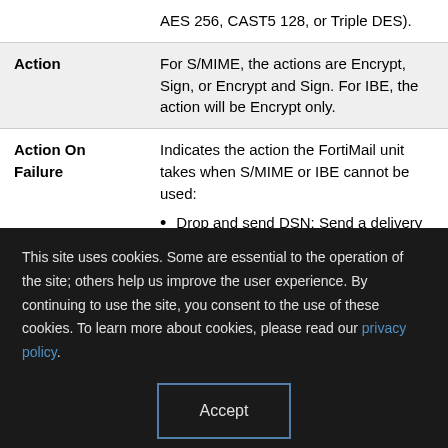| Field | Description |
| --- | --- |
|  | AES 256, CAST5 128, or Triple DES). |
| Action | For S/MIME, the actions are Encrypt, Sign, or Encrypt and Sign. For IBE, the action will be Encrypt only. |
| Action On Failure | Indicates the action the FortiMail unit takes when S/MIME or IBE cannot be used:
• Drop and send DSN: Send a delivery status notification (DSN) email to the |
This site uses cookies. Some are essential to the operation of the site; others help us improve the user experience. By continuing to use the site, you consent to the use of these cookies. To learn more about cookies, please read our privacy policy.